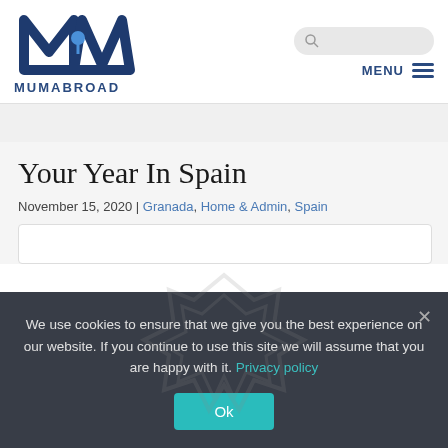[Figure (logo): MumAbroad logo with stylized M and A letters with a location pin, text reads MUMABROAD]
Your Year In Spain
November 15, 2020 | Granada, Home & Admin, Spain
We use cookies to ensure that we give you the best experience on our website. If you continue to use this site we will assume that you are happy with it. Privacy policy
Ok